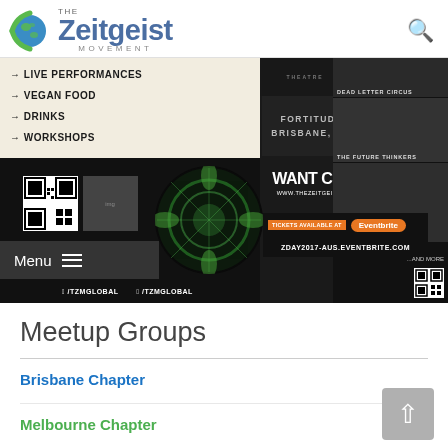THE Zeitgeist MOVEMENT
[Figure (screenshot): Promotional banner for Zeitgeist Movement Z-Day 2017 event in Fortitude Valley, Brisbane, Australia. Features live performances, vegan food, drinks, workshops. Want Change? www.thezeitgeistmovement.com. Tickets available at Eventbrite. ZDAY2017-AUS.EVENTBRITE.COM. Social: /TZMGLOBAL. Speakers: Dead Letter Circus, The Future Thinkers, Eleanor Goldfield, and more.]
Meetup Groups
Brisbane Chapter
Melbourne Chapter